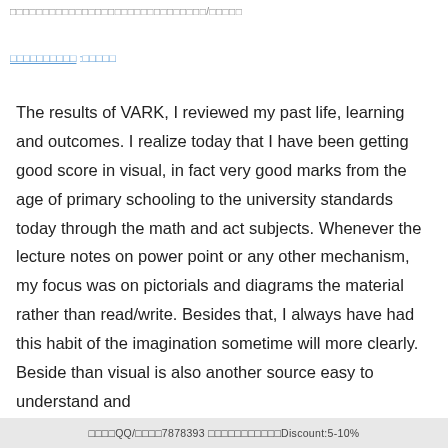□□□□□□□□□□□□□□□□□□□□□□□□□□□□□□/□□□□□
□□□□□□□□□□ :□□□□□
The results of VARK, I reviewed my past life, learning and outcomes. I realize today that I have been getting good score in visual, in fact very good marks from the age of primary schooling to the university standards today through the math and act subjects. Whenever the lecture notes on power point or any other mechanism, my focus was on pictorials and diagrams the material rather than read/write. Besides that, I always have had this habit of the imagination sometime will more clearly. Beside than visual is also another source easy to understand and
□□□□QQ/□□□□7878393 □□□□□□□□□□□Discount:5-10%